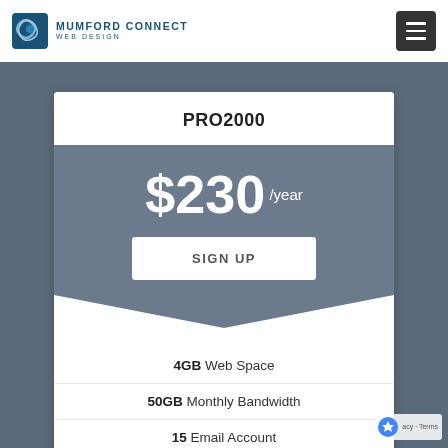MUMFORD CONNECT WEB DESIGN
PRO2000
$230 /year
SIGN UP
4GB Web Space
50GB Monthly Bandwidth
15 Email Account